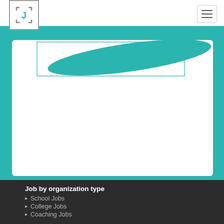[Figure (logo): Logo with letter J inside bracket-style square frame]
[Figure (screenshot): Website screenshot showing teal background with white card and teal decorative shape]
Job by organization type
School Jobs
College Jobs
Coaching Jobs